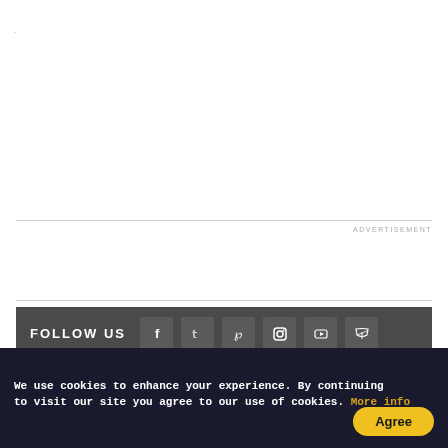.
ADVERTISEMENT
FOLLOW US | Copyright - newindianexpress.com 2022 | The Morning Standard | Dinamani | Kannada Prabha | Samakalika Malayalam | Indulgexpress | Edex Live | Cinema Express | Event Xpress | Contact Us | About Us | Careers | Privacy Policy | Search | Terms of Use | Advertise With Us
We use cookies to enhance your experience. By continuing to visit our site you agree to our use of cookies. More info Agree